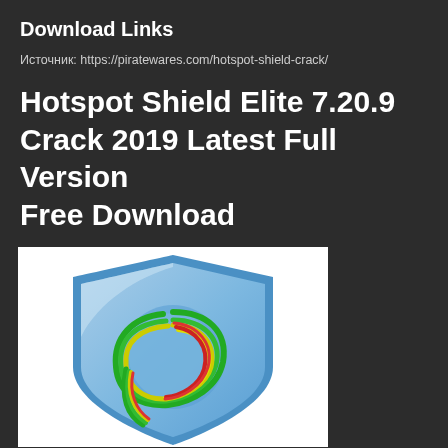Download Links
Источник: https://piratewares.com/hotspot-shield-crack/
Hotspot Shield Elite 7.20.9 Crack 2019 Latest Full Version Free Download
[Figure (logo): Hotspot Shield logo — a blue shield with a colorful swirl of green, yellow, and red curved lines forming a circular design on a light blue background, displayed on a white rectangle.]